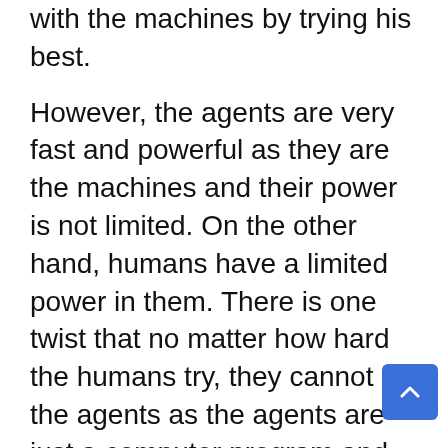with the machines by trying his best.
However, the agents are very fast and powerful as they are the machines and their power is not limited. On the other hand, humans have a limited power in them. There is one twist that no matter how hard the humans try, they cannot kill the agents as the agents are just a computer program and cannot be killed.
They will again re spawn into some another human who will be plugge the matrix machine.